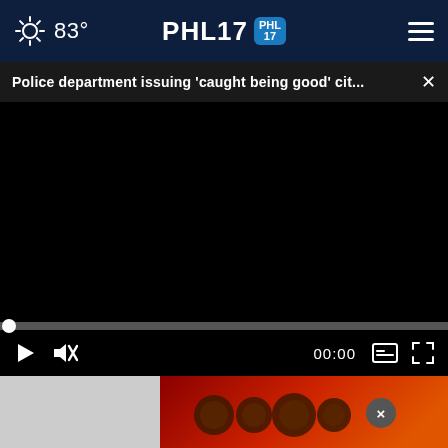83° PHL17
Police department issuing 'caught being good' cit...
[Figure (screenshot): Black video player area with progress bar and controls showing 00:00 timestamp]
[Figure (photo): Partial image of dark spiky objects on orange/red background with close button overlay]
Adopt a teen. You can't imagine the reward.